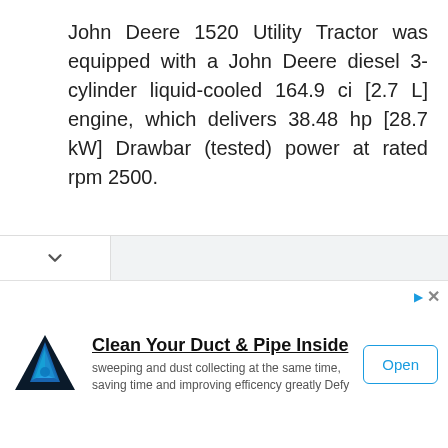John Deere 1520 Utility Tractor was equipped with a John Deere diesel 3-cylinder liquid-cooled 164.9 ci [2.7 L] engine, which delivers 38.48 hp [28.7 kW] Drawbar (tested) power at rated rpm 2500.
[Figure (screenshot): Browser UI bar with a down chevron button and white tab area]
[Figure (infographic): Advertisement banner: triangular blue logo icon, heading 'Clean Your Duct & Pipe Inside', subtext 'sweeping and dust collecting at the same time, saving time and improving efficency greatly Defy', and an 'Open' button]